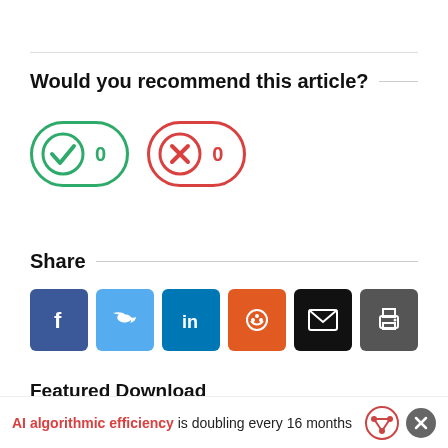Would you recommend this article?
[Figure (other): Two voting buttons: a green checkmark button with count 0, and a red X button with count 0]
Share
[Figure (other): Six social share buttons: Facebook (blue), Twitter (light blue), LinkedIn (dark blue), Reddit (orange), Email (black), Print (gray)]
Featured Download
AI algorithmic efficiency is doubling every 16 months